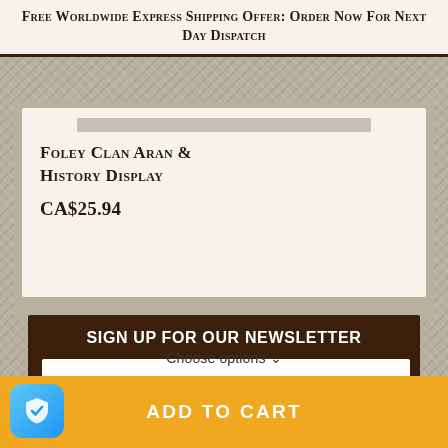Free Worldwide Express Shipping Offer: Order Now For Next Day Dispatch
Foley Clan Aran & History Display
CA$25.94
SIGN UP FOR OUR NEWSLETTER
name
Your email address
Choose options ∨
ADD TO CART